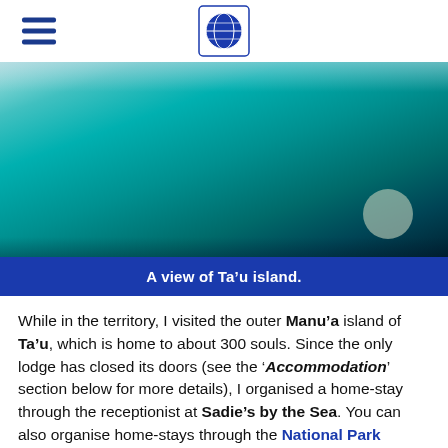Navigation header with globe logo
[Figure (photo): Aerial view of Ta'u island showing turquoise ocean waters]
A view of Ta’u island.
While in the territory, I visited the outer Manu’a island of Ta’u, which is home to about 300 souls. Since the only lodge has closed its doors (see the ‘Accommodation’ section below for more details), I organised a home-stay through the receptionist at Sadie’s by the Sea. You can also organise home-stays through the National Park Visitor Information Center.